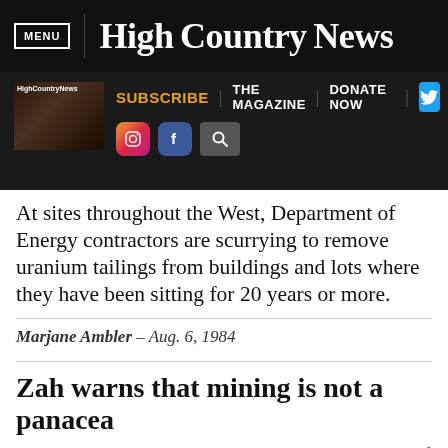MENU | High Country News
[Figure (screenshot): High Country News website navigation bar with SUBSCRIBE, THE MAGAZINE, DONATE NOW links, Twitter, Instagram, Facebook, and search icons, plus a magazine thumbnail]
At sites throughout the West, Department of Energy contractors are scurrying to remove uranium tailings from buildings and lots where they have been sitting for 20 years or more.
Marjane Ambler – Aug. 6, 1984
Zah warns that mining is not a panacea
Navajo Tribal Chairman Peterson Zah told the Council of Energy Resource Tribes members here last month that they should not look at